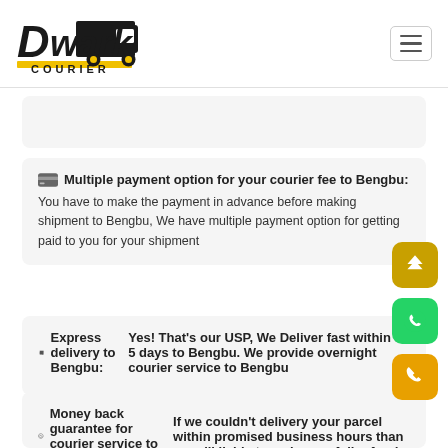[Figure (logo): Dwarka Courier logo with yellow truck and striped text]
Multiple payment option for your courier fee to Bengbu: You have to make the payment in advance before making shipment to Bengbu, We have multiple payment option for getting paid to you for your shipment
Express delivery to Bengbu: Yes! That's our USP, We Deliver fast within 3-5 days to Bengbu. We provide overnight courier service to Bengbu
Money back guarantee for courier service to Bengbu : If we couldn't delivery your parcel within promised business hours than we will liable to make you full refund